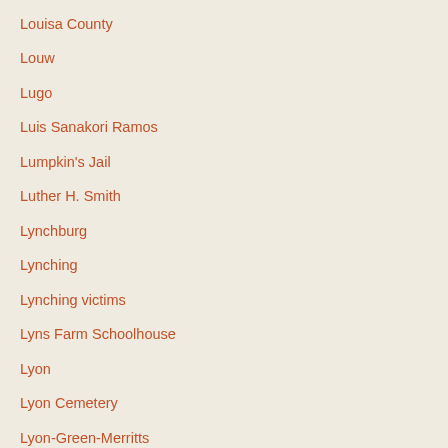Lopez
Louisa County
Louw
Lugo
Luis Sanakori Ramos
Lumpkin's Jail
Luther H. Smith
Lynchburg
Lynching
Lynching victims
Lyns Farm Schoolhouse
Lyon
Lyon Cemetery
Lyon-Green-Merritts
Lyons